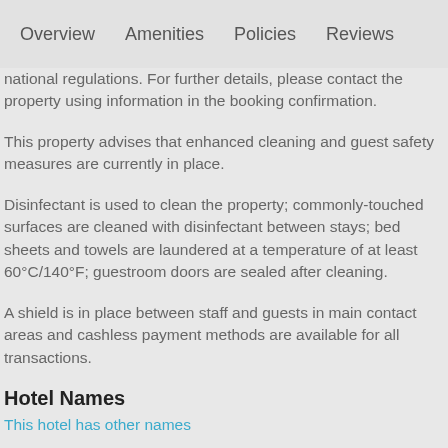Overview   Amenities   Policies   Reviews
national regulations. For further details, please contact the property using information in the booking confirmation.
This property advises that enhanced cleaning and guest safety measures are currently in place.
Disinfectant is used to clean the property; commonly-touched surfaces are cleaned with disinfectant between stays; bed sheets and towels are laundered at a temperature of at least 60°C/140°F; guestroom doors are sealed after cleaning.
A shield is in place between staff and guests in main contact areas and cashless payment methods are available for all transactions.
Hotel Names
This hotel has other names
National Rating
This property has received its official star rating from the French Tourism Board...